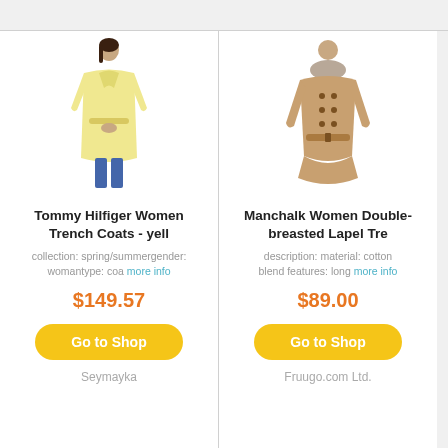[Figure (photo): Tommy Hilfiger women's trench coat in yellow, worn by a female model]
Tommy Hilfiger Women Trench Coats - yell
collection: spring/summergender: womantype: coa more info
$149.57
Go to Shop
Seymayka
[Figure (photo): Manchalk women's double-breasted lapel trench coat in camel/tan with fur collar]
Manchalk Women Double-breasted Lapel Tre
description: material: cotton blend features: long more info
$89.00
Go to Shop
Fruugo.com Ltd.